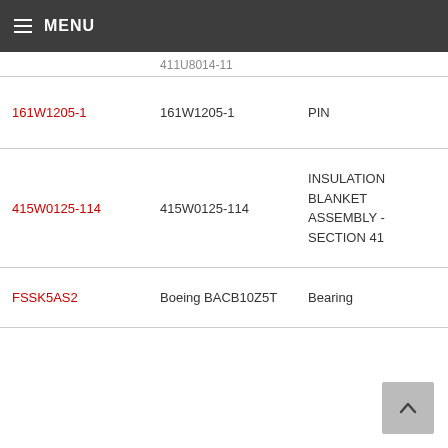MENU
| Part Number | Part Number | Description |
| --- | --- | --- |
| 411U8006-11 (partial) | 411U8014-11 |  |
| 161W1205-1 | 161W1205-1 | PIN |
| 415W0125-114 | 415W0125-114 | INSULATION BLANKET ASSEMBLY - SECTION 41 |
| FSSK5AS2 | Boeing BACB10Z5T | Bearing |